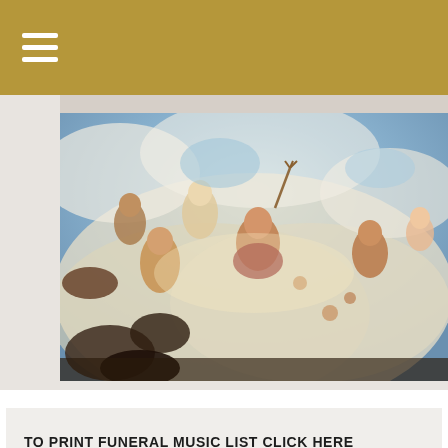[Figure (photo): Baroque ceiling fresco painting showing figures in clouds, including a central bearded figure with a trident, angels and mythological figures in dramatic poses with rich blue sky background]
TO PRINT FUNERAL MUSIC LIST CLICK HERE
MUSIC AT FUNERALS
Music plays an important role at the funeral. It adds a sense of solemnity to the funeral and express the paschal myster
Mass Times & Directions